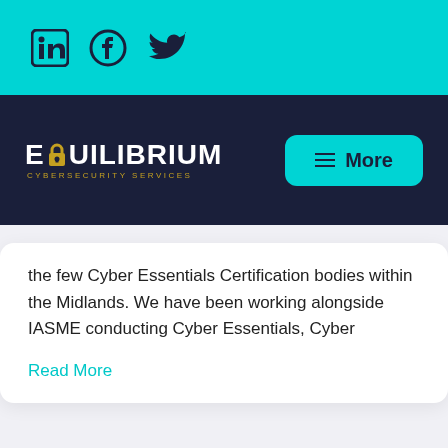[Figure (logo): Social media icons: LinkedIn, Facebook, Twitter on cyan background]
[Figure (logo): Equilibrium Cybersecurity Services logo on dark navy background with More navigation button]
the few Cyber Essentials Certification bodies within the Midlands. We have been working alongside IASME conducting Cyber Essentials, Cyber
Read More